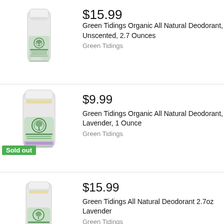[Figure (photo): Green Tidings Organic All Natural Deodorant Unscented stick product image]
$15.99
Green Tidings Organic All Natural Deodorant, Unscented, 2.7 Ounces
Green Tidings
[Figure (photo): Green Tidings Organic All Natural Deodorant Lavender 1 oz stick product image with Sold out badge]
$9.99
Green Tidings Organic All Natural Deodorant, Lavender, 1 Ounce
Green Tidings
[Figure (photo): Green Tidings All Natural Deodorant 2.7oz Lavender stick product image]
$15.99
Green Tidings All Natural Deodorant 2.7oz Lavender
Green Tidings